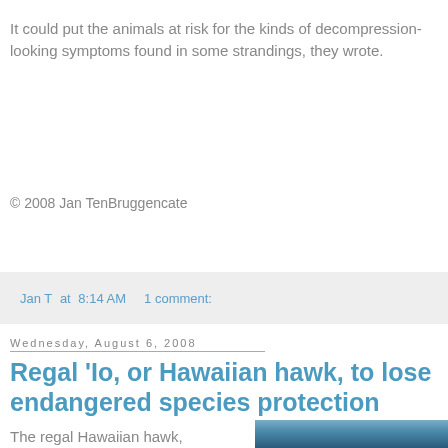It could put the animals at risk for the kinds of decompression-looking symptoms found in some strandings, they wrote.
© 2008 Jan TenBruggencate
Jan T at 8:14 AM    1 comment:
Wednesday, August 6, 2008
Regal 'Io, or Hawaiian hawk, to lose endangered species protection
The regal Hawaiian hawk,
[Figure (photo): Photo of a Hawaiian hawk, partially visible at bottom right of page]